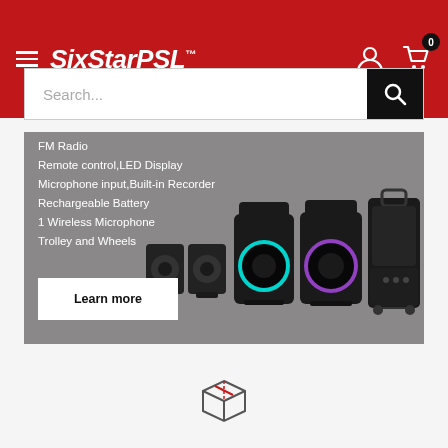SixStarPSL™
Search...
FM Radio
Remote control,LED Display
Microphone input,Built-in Recorder
Rechargeable Battery
1 Wireless Microphone
Trolley and Wheels
[Figure (photo): Multiple portable PA speaker models displayed side by side on grey background]
Learn more
[Figure (illustration): Box/package icon at bottom of page]